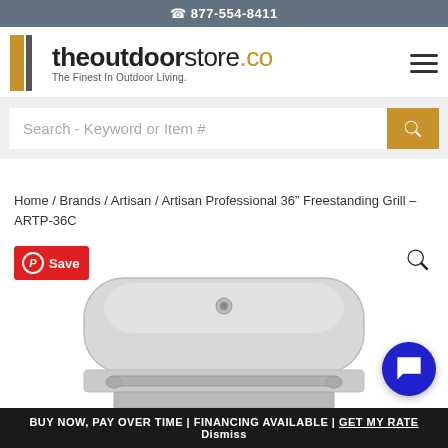☎ 877-554-8411
[Figure (logo): theoutdoorstore.co logo with tagline 'The Finest In Outdoor Living.']
Search - Keyword or Item #
Home / Brands / Artisan / Artisan Professional 36″ Freestanding Grill – ARTP-36C
[Figure (photo): Stainless steel Artisan Professional 36 inch freestanding grill with lid closed and handle bar visible]
BUY NOW, PAY OVER TIME | FINANCING AVAILABLE | GET MY RATE Dismiss